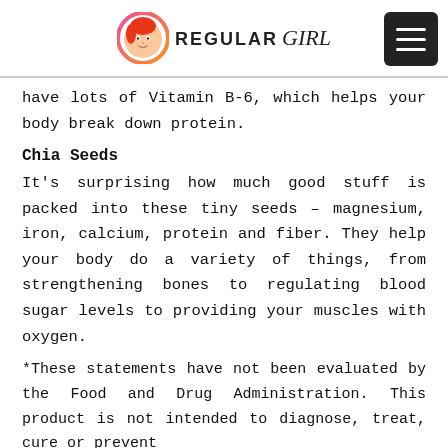Regular Girl
have lots of Vitamin B-6, which helps your body break down protein.
Chia Seeds
It's surprising how much good stuff is packed into these tiny seeds – magnesium, iron, calcium, protein and fiber. They help your body do a variety of things, from strengthening bones to regulating blood sugar levels to providing your muscles with oxygen.
*These statements have not been evaluated by the Food and Drug Administration. This product is not intended to diagnose, treat, cure or prevent